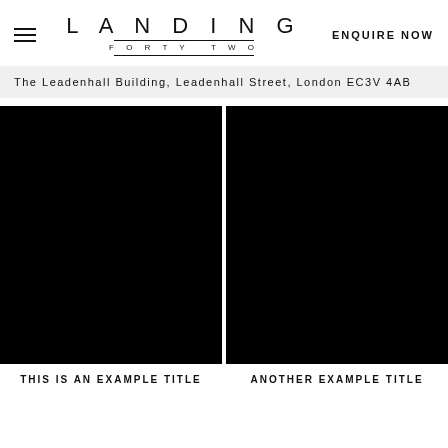LANDING FORTY TWO | ENQUIRE NOW
The Leadenhall Building, Leadenhall Street, London EC3V 4AB
[Figure (photo): Black image placeholder on the left side]
THIS IS AN EXAMPLE TITLE
[Figure (photo): Black image placeholder on the right side]
ANOTHER EXAMPLE TITLE